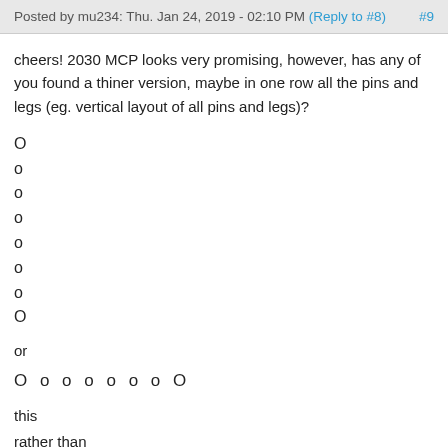Posted by mu234: Thu. Jan 24, 2019 - 02:10 PM (Reply to #8) #9
cheers! 2030 MCP looks very promising, however, has any of you found a thiner version, maybe in one row all the pins and legs (eg. vertical layout of all pins and legs)?
O
o
o
o
o
o
o
O
or
O o o o o o o O
this
rather than
this